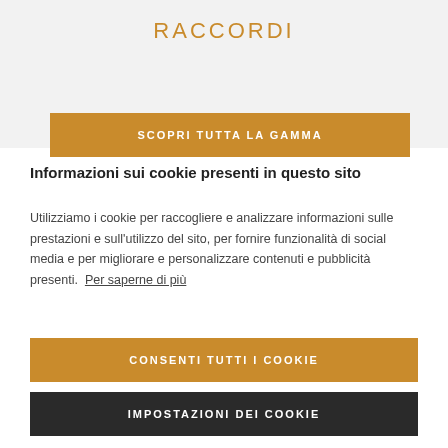RACCORDI
SCOPRI TUTTA LA GAMMA
Informazioni sui cookie presenti in questo sito
Utilizziamo i cookie per raccogliere e analizzare informazioni sulle prestazioni e sull'utilizzo del sito, per fornire funzionalità di social media e per migliorare e personalizzare contenuti e pubblicità presenti. Per saperne di più
CONSENTI TUTTI I COOKIE
IMPOSTAZIONI DEI COOKIE